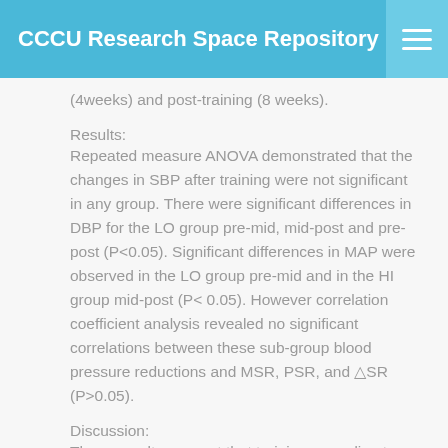CCCU Research Space Repository
(4weeks) and post-training (8 weeks).
Results:
Repeated measure ANOVA demonstrated that the changes in SBP after training were not significant in any group. There were significant differences in DBP for the LO group pre-mid, mid-post and pre-post (P<0.05). Significant differences in MAP were observed in the LO group pre-mid and in the HI group mid-post (P< 0.05). However correlation coefficient analysis revealed no significant correlations between these sub-group blood pressure reductions and MSR, PSR, and △SR (P>0.05).
Discussion:
These results suggest that training according to different levels of shear stress in the common